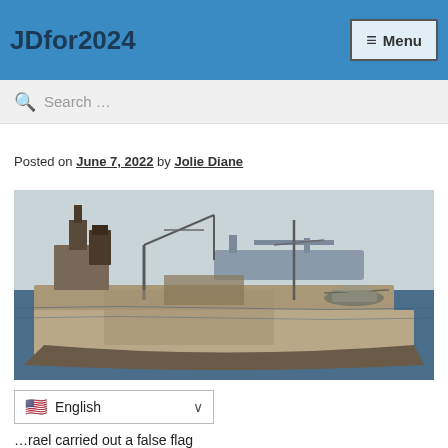JDfor2024
Menu
Search ...
Posted on June 7, 2022 by Jolie Diane
[Figure (photo): A damaged and heavily rusted naval vessel (USS Liberty) at sea with another ship visible in the background and a helicopter on the deck]
English
...rael carried out a false flag